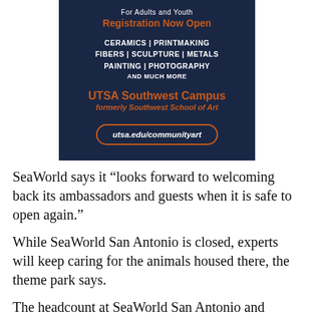[Figure (infographic): Dark navy blue advertisement for UTSA Southwest Campus Community Art Program. Text reads: 'For Adults and Youth', 'Registration Now Open', 'CERAMICS | PRINTMAKING', 'FIBERS | SCULPTURE | METALS', 'PAINTING | PHOTOGRAPHY', 'AND MUCH MORE', 'UTSA Southwest Campus', 'formerly Southwest School of Art', and a button showing 'utsa.edu/communityart'.]
SeaWorld says it “looks forward to welcoming back its ambassadors and guests when it is safe to open again.”
While SeaWorld San Antonio is closed, experts will keep caring for the animals housed there, the theme park says.
The headcount at SeaWorld San Antonio and SeaWorld